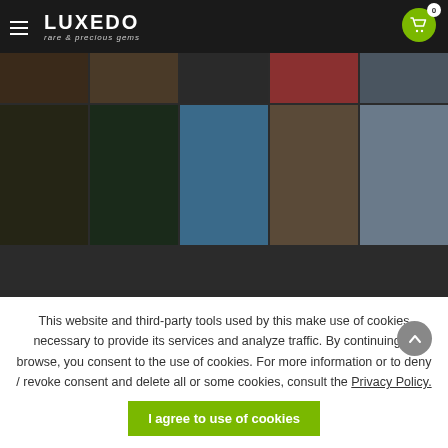LUXEDO rare & precious gems
[Figure (photo): Grid of people photos in two rows of five, showing various individuals in different settings and outfits.]
©2016 Luxedo | All rights reserved | P.IVA: 03845570401
[Figure (other): Three certification/payment badges in footer area]
This website and third-party tools used by this make use of cookies necessary to provide its services and analyze traffic. By continuing to browse, you consent to the use of cookies. For more information or to deny / revoke consent and delete all or some cookies, consult the Privacy Policy.